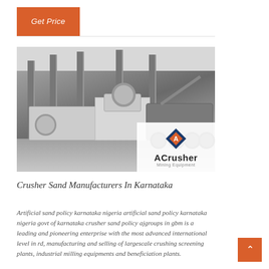Get Price
[Figure (photo): Industrial mining crusher machinery inside a large warehouse/factory hall, with heavy equipment on wheeled chassis. ACrusher Mining Equipment logo overlay in bottom-right corner.]
Crusher Sand Manufacturers In Karnataka
Artificial sand policy karnataka nigeria artificial sand policy karnataka nigeria govt of karnataka crusher sand policy ajgroups in gbm is a leading and pioneering enterprise with the most advanced international level in rd, manufacturing and selling of largescale crushing screening plants, industrial milling equipments and beneficiation plants.